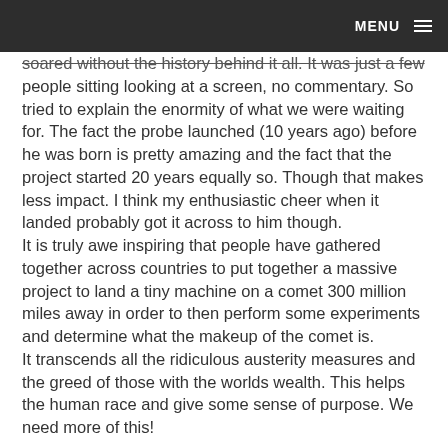MENU
soared without the history behind it all. It was just a few people sitting looking at a screen, no commentary. So tried to explain the enormity of what we were waiting for. The fact the probe launched (10 years ago) before he was born is pretty amazing and the fact that the project started 20 years equally so. Though that makes less impact. I think my enthusiastic cheer when it landed probably got it across to him though.
It is truly awe inspiring that people have gathered together across countries to put together a massive project to land a tiny machine on a comet 300 million miles away in order to then perform some experiments and determine what the makeup of the comet is.
It transcends all the ridiculous austerity measures and the greed of those with the worlds wealth. This helps the human race and give some sense of purpose. We need more of this!